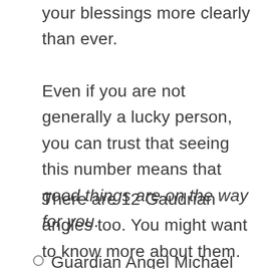your blessings more clearly than ever.
Even if you are not generally a lucky person, you can trust that seeing this number means that good things are on the way for you.
There are 12 Gaudrian angles too. You might want to know more about them.
Guardian Angel Michael